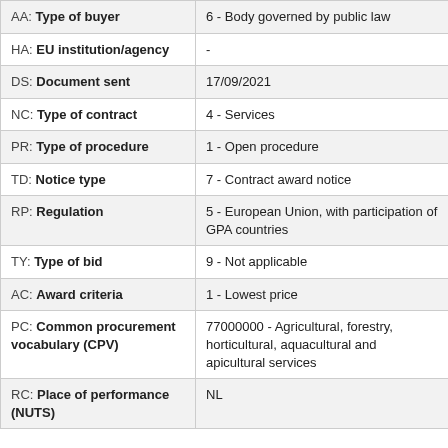| Field | Value |
| --- | --- |
| AA: Type of buyer | 6 - Body governed by public law |
| HA: EU institution/agency | - |
| DS: Document sent | 17/09/2021 |
| NC: Type of contract | 4 - Services |
| PR: Type of procedure | 1 - Open procedure |
| TD: Notice type | 7 - Contract award notice |
| RP: Regulation | 5 - European Union, with participation of GPA countries |
| TY: Type of bid | 9 - Not applicable |
| AC: Award criteria | 1 - Lowest price |
| PC: Common procurement vocabulary (CPV) | 77000000 - Agricultural, forestry, horticultural, aquacultural and apicultural services |
| RC: Place of performance (NUTS) | NL |